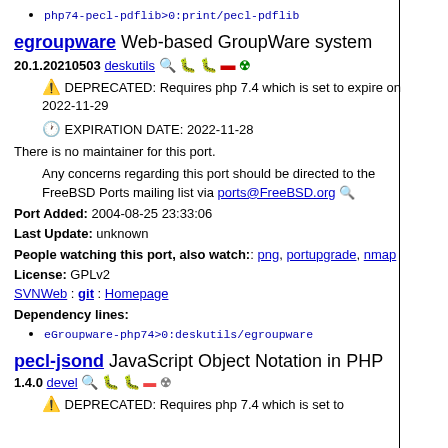php74-pecl-pdflib>0:print/pecl-pdflib
egroupware Web-based GroupWare system
20.1.20210503 deskutils [icons]
DEPRECATED: Requires php 7.4 which is set to expire on 2022-11-29
EXPIRATION DATE: 2022-11-28
There is no maintainer for this port.
Any concerns regarding this port should be directed to the FreeBSD Ports mailing list via ports@FreeBSD.org
Port Added: 2004-08-25 23:33:06
Last Update: unknown
People watching this port, also watch:: png, portupgrade, nmap
License: GPLv2
SVNWeb : git : Homepage
Dependency lines:
eGroupware-php74>0:deskutils/egroupware
pecl-jsond JavaScript Object Notation in PHP
1.4.0 devel [icons]
DEPRECATED: Requires php 7.4 which is set to